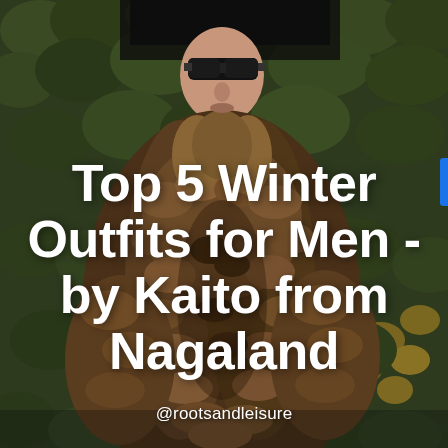[Figure (photo): A man wearing large dark sunglasses and a brown/tan textured fur coat, standing in front of a green ivy-covered wall. The photo is taken from the chest up.]
Top 5 Winter Outfits for Men - by Kaito from Nagaland
@rootsandleisure